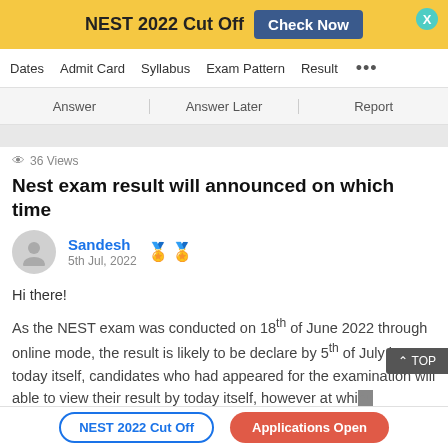NEST 2022 Cut Off  Check Now
Dates  Admit Card  Syllabus  Exam Pattern  Result  ...
Answer  |  Answer Later  |  Report
36 Views
Nest exam result will announced on which time
Sandesh  5th Jul, 2022
Hi there!
As the NEST exam was conducted on 18th of June 2022 through online mode, the result is likely to be declare by 5th of July i.e. today itself, candidates who had appeared for the examination will able to view their result by today itself, however at which
NEST 2022 Cut Off  Applications Open